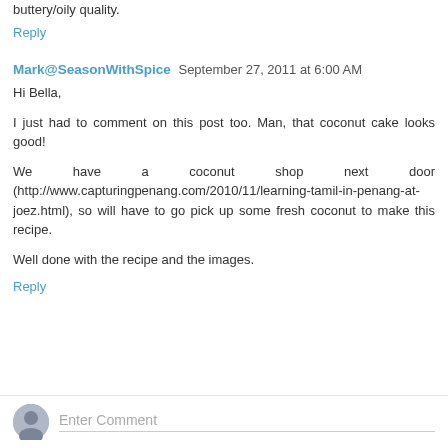buttery/oily quality.
Reply
Mark@SeasonWithSpice  September 27, 2011 at 6:00 AM
Hi Bella,
I just had to comment on this post too. Man, that coconut cake looks good!
We have a coconut shop next door (http://www.capturingpenang.com/2010/11/learning-tamil-in-penang-at-joez.html), so will have to go pick up some fresh coconut to make this recipe.
Well done with the recipe and the images.
Reply
Enter Comment